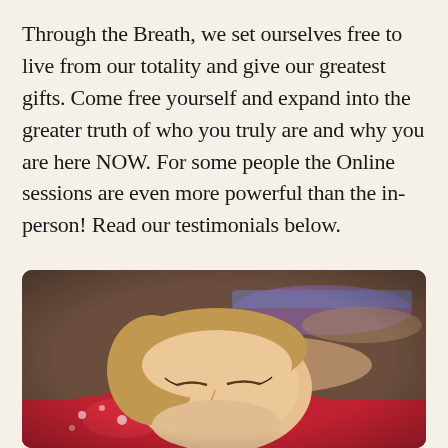Through the Breath, we set ourselves free to live from our totality and give our greatest gifts. Come free yourself and expand into the greater truth of who you truly are and why you are here NOW. For some people the Online sessions are even more powerful than the in-person! Read our testimonials below.
[Figure (photo): People lying on the floor on their backs with eyes closed, participating in a breathwork session. A woman in a red patterned top is in the foreground.]